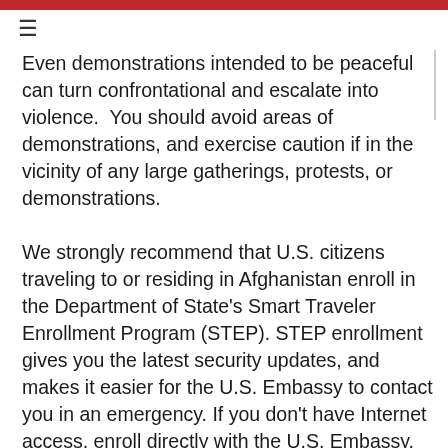≡
Even demonstrations intended to be peaceful can turn confrontational and escalate into violence.  You should avoid areas of demonstrations, and exercise caution if in the vicinity of any large gatherings, protests, or demonstrations.
We strongly recommend that U.S. citizens traveling to or residing in Afghanistan enroll in the Department of State's Smart Traveler Enrollment Program (STEP). STEP enrollment gives you the latest security updates, and makes it easier for the U.S. Embassy to contact you in an emergency. If you don't have Internet access, enroll directly with the U.S. Embassy.
U.S. citizens in Afghanistan should regularly monitor the Travel Advisories on the website of the Embassy of the